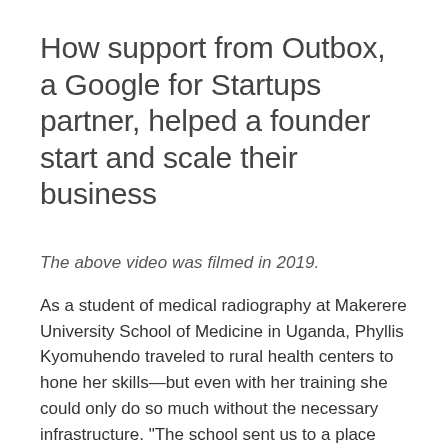How support from Outbox, a Google for Startups partner, helped a founder start and scale their business
The above video was filmed in 2019.
As a student of medical radiography at Makerere University School of Medicine in Uganda, Phyllis Kyomuhendo traveled to rural health centers to hone her skills—but even with her training she could only do so much without the necessary infrastructure. "The school sent us to a place with no electricity, where it was impossible to care for patients," she remembers. Phyllis watched in frustration as several women died from preventable conditions due to a